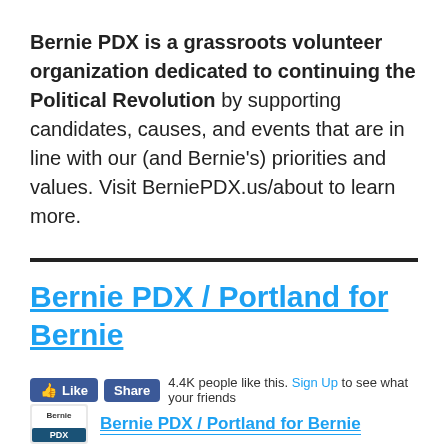Bernie PDX is a grassroots volunteer organization dedicated to continuing the Political Revolution by supporting candidates, causes, and events that are in line with our (and Bernie's) priorities and values. Visit BerniePDX.us/about to learn more.
Bernie PDX / Portland for Bernie
Like Share 4.4K people like this. Sign Up to see what your friends
[Figure (logo): Bernie PDX logo with text Bernie PDX / Portland for Bernie]